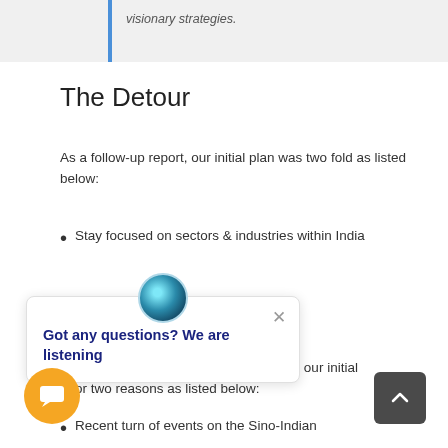visionary strategies.
The Detour
As a follow-up report, our initial plan was two fold as listed below:
Stay focused on sectors & industries within India
…that should be …e axis of global
However, we decided to divert a bit from our initial n for two reasons as listed below:
Recent turn of events on the Sino-Indian